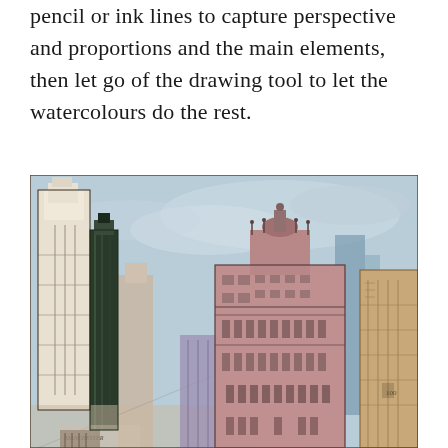pencil or ink lines to capture perspective and proportions and the main elements, then let go of the drawing tool to let the watercolours do the rest.
[Figure (illustration): Watercolour and ink sketch of an urban cityscape showing tall buildings with architectural detail, rendered in muted pinks, blues, and earth tones with loose ink linework.]